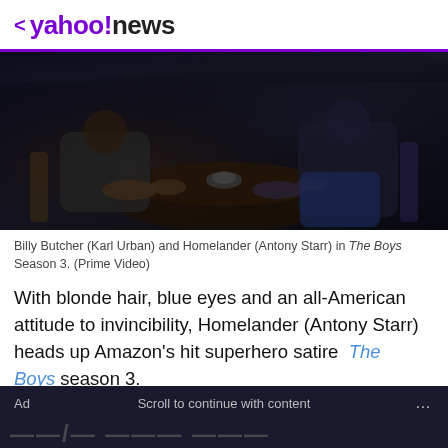< yahoo!news
[Figure (photo): Two people sitting across from each other at a dark round table in a dimly lit scene from The Boys Season 3.]
Billy Butcher (Karl Urban) and Homelander (Antony Starr) in The Boys Season 3. (Prime Video)
With blonde hair, blue eyes and an all-American attitude to invincibility, Homelander (Antony Starr) heads up Amazon's hit superhero satire The Boys season 3.
Offering up a preening archetype of Aryan superiority with infallible approval ratings and a side line in psychosis, Prime Video welcomes him back from 3 June.
Ad   Scroll to continue with content   ...